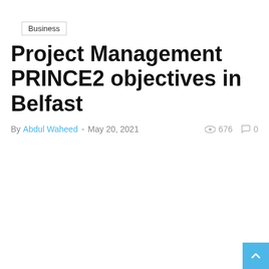Business
Project Management PRINCE2 objectives in Belfast
By Abdul Waheed - May 20, 2021  676  0